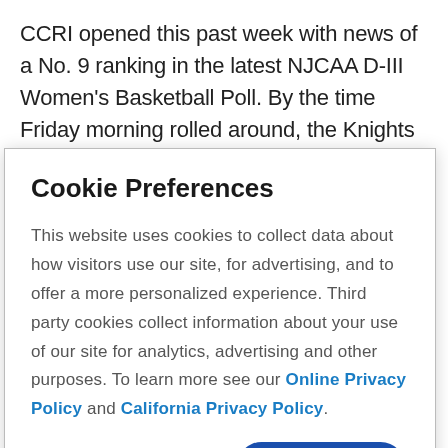CCRI opened this past week with news of a No. 9 ranking in the latest NJCAA D-III Women's Basketball Poll. By the time Friday morning rolled around, the Knights sported a 13-5 record that included a pristine mark against conference opponents (8-0) – additional supporting evidence that, not only is Haynes winning with
Cookie Preferences
This website uses cookies to collect data about how visitors use our site, for advertising, and to offer a more personalized experience. Third party cookies collect information about your use of our site for analytics, advertising and other purposes. To learn more see our Online Privacy Policy and California Privacy Policy.
Manage Cookies
Accept